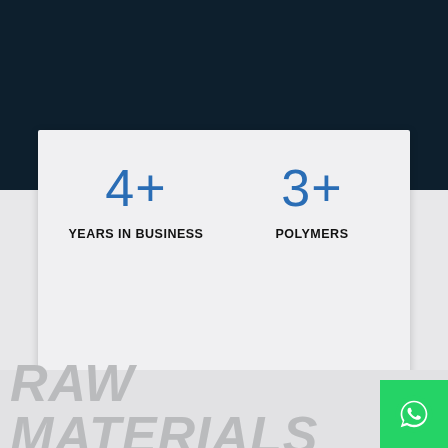[Figure (infographic): Stats infographic card with four metrics: 4+ Years in Business, 3+ Polymers, 3+ Industries Using Our Products, 0K+ Products Developed]
RAW MATERIALS